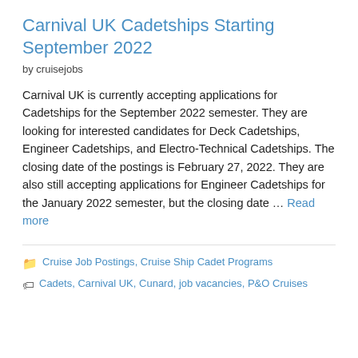Carnival UK Cadetships Starting September 2022
by cruisejobs
Carnival UK is currently accepting applications for Cadetships for the September 2022 semester. They are looking for interested candidates for Deck Cadetships, Engineer Cadetships, and Electro-Technical Cadetships. The closing date of the postings is February 27, 2022. They are also still accepting applications for Engineer Cadetships for the January 2022 semester, but the closing date … Read more
Categories: Cruise Job Postings, Cruise Ship Cadet Programs
Tags: Cadets, Carnival UK, Cunard, job vacancies, P&O Cruises